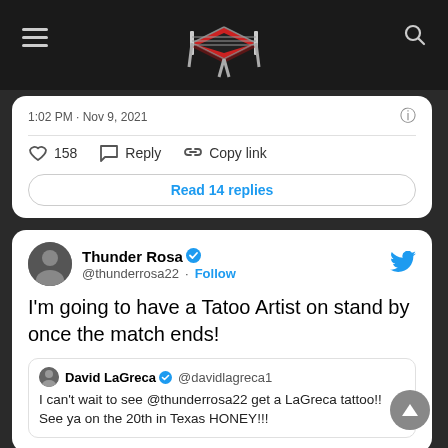Wrestling news website header with hamburger menu, logo, and search icon
1:02 PM · Nov 9, 2021
♡ 158   Reply   Copy link
Read 14 replies
Thunder Rosa @thunderrosa22 · Follow
I'm going to have a Tatoo Artist on stand by once the match ends!
David LaGreca @davidlagreca1 I can't wait to see @thunderrosa22 get a LaGreca tattoo!! See ya on the 20th in Texas HONEY!!!